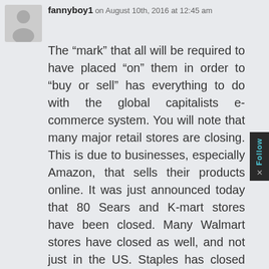fannyboy1 on August 10th, 2016 at 12:45 am
The “mark” that all will be required to have placed “on” them in order to “buy or sell” has everything to do with the global capitalists e-commerce system. You will note that many major retail stores are closing. This is due to businesses, especially Amazon, that sells their products online. It was just announced today that 80 Sears and K-mart stores have been closed. Many Walmart stores have closed as well, and not just in the US. Staples has closed many of their stores. Best Buy is closing stores. The list of stores closing is long. Then there are the “Smart Cities” that are springing up in places like San Diego where “Cybersecurity” means “smart is safe”. These are the places where the “mark” will begin to be offered as means of identifying, verifying, and authorizing individuals to conduct e-